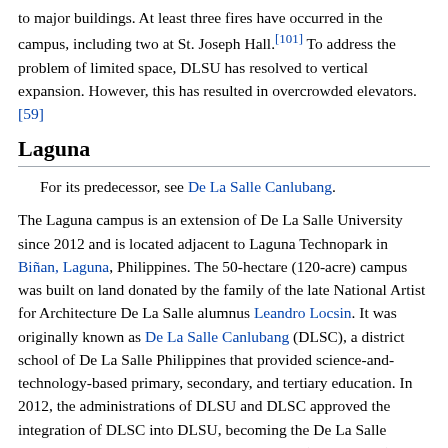to major buildings. At least three fires have occurred in the campus, including two at St. Joseph Hall.[101] To address the problem of limited space, DLSU has resolved to vertical expansion. However, this has resulted in overcrowded elevators.[59]
Laguna
For its predecessor, see De La Salle Canlubang.
The Laguna campus is an extension of De La Salle University since 2012 and is located adjacent to Laguna Technopark in Biñan, Laguna, Philippines. The 50-hectare (120-acre) campus was built on land donated by the family of the late National Artist for Architecture De La Salle alumnus Leandro Locsin. It was originally known as De La Salle Canlubang (DLSC), a district school of De La Salle Philippines that provided science-and-technology-based primary, secondary, and tertiary education. In 2012, the administrations of DLSU and DLSC approved the integration of DLSC into DLSU, becoming the De La Salle University – Science & Technology Complex (DLSU–STC), and later renamed as the De La Salle University – Laguna Campus.[11] By 2010, 6,000 m2 (65,000 sq ft) of the campus had been developed.[53] The Laguna campus offered 18 undergraduate